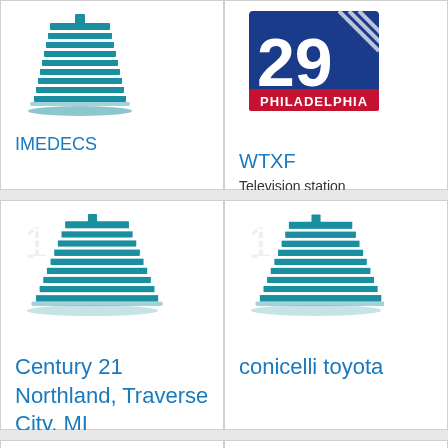[Figure (logo): Teal building/skyscraper icon for IMEDECS]
IMEDECS
[Figure (logo): WTXF Fox 29 Philadelphia TV station logo]
WTXF
Television station
[Figure (logo): Teal building/skyscraper icon for Century 21 Northland]
Century 21 Northland, Traverse City, MI
[Figure (logo): Teal building/skyscraper icon for conicelli toyota]
conicelli toyota
[Figure (logo): Teal building/skyscraper icon (partial, bottom of page)]
[Figure (logo): Teal building/skyscraper icon (partial, bottom of page)]